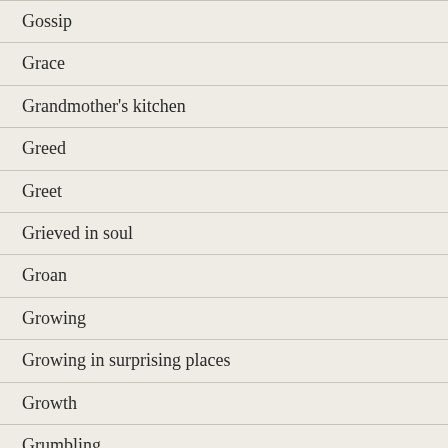Gossip
Grace
Grandmother's kitchen
Greed
Greet
Grieved in soul
Groan
Growing
Growing in surprising places
Growth
Grumbling
Guilt and guilt